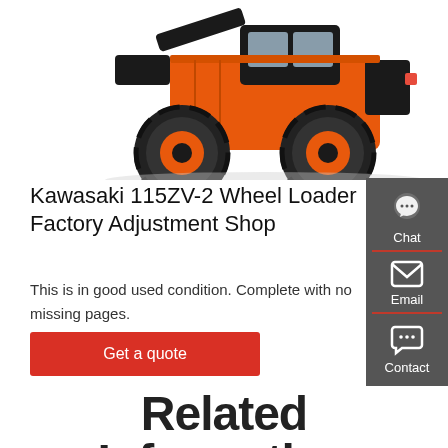[Figure (photo): Orange and black Kawasaki 115ZV-2 Wheel Loader, rear three-quarter view showing large tires with orange rims, photographed on white background.]
Kawasaki 115ZV-2 Wheel Loader Factory Adjustment Shop
This is in good used condition. Complete with no missing pages.
Get a quote
Related Information